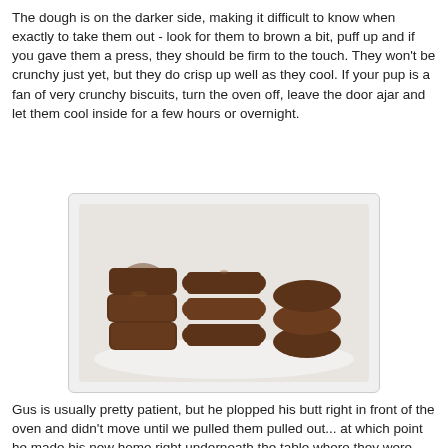The dough is on the darker side, making it difficult to know when exactly to take them out - look for them to brown a bit, puff up and if you gave them a press, they should be firm to the touch. They won't be crunchy just yet, but they do crisp up well as they cool. If your pup is a fan of very crunchy biscuits, turn the oven off, leave the door ajar and let them cool inside for a few hours or overnight.
[Figure (photo): Photo of dark brown dog biscuits in various shapes (bone-shaped, round, square) stacked on a white surface]
Gus is usually pretty patient, but he plopped his butt right in front of the oven and didn't move until we pulled them pulled out... at which point he made his new home right underneath the table where they were cooling! He devoured the half of one I gave him, but I think someone may have spooked him